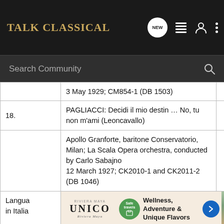TALK CLASSICAL
|  |  |  |
| --- | --- | --- |
|  | 3 May 1929; CM854-1 (DB 1503) |  |
| 18. | PAGLIACCI: Decidi il mio destin … No, tu non m'ami (Leoncavallo) | 8:58 |
|  | Apollo Granforte, baritone
Conservatorio, Milan; La Scala Opera orchestra, conducted by Carlo Sabajno
12 March 1927; CK2010-1 and CK2011-2 (DB 1046) |  |
| Langua...
in Italia... | [ad] |  |